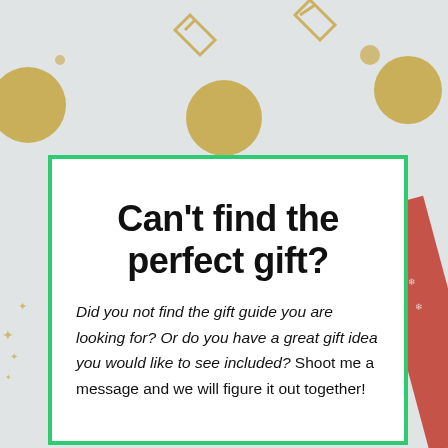[Figure (photo): Decorative background photo with gold polka dots, snowflake patterns, gold paper clips, and holiday gift wrapping paper on a light grey/white surface]
Can't find the perfect gift?
Did you not find the gift guide you are looking for? Or do you have a great gift idea you would like to see included? Shoot me a message and we will figure it out together!